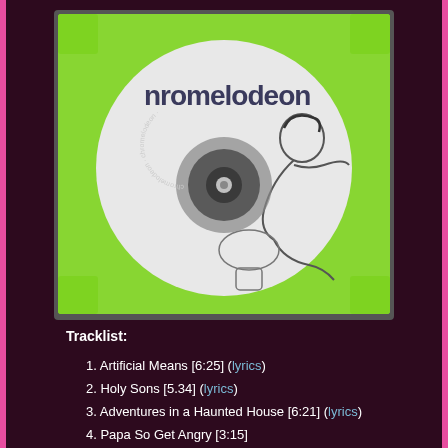[Figure (photo): A green vinyl/CD sleeve containing a white disc labeled 'chromelodeon' with an illustration of a person lying back, and a visible disc hub in the center.]
Tracklist:
1. Artificial Means [6:25] (lyrics)
2. Holy Sons [5.34] (lyrics)
3. Adventures in a Haunted House [6:21] (lyrics)
4. Papa So Get Angry [3:15]